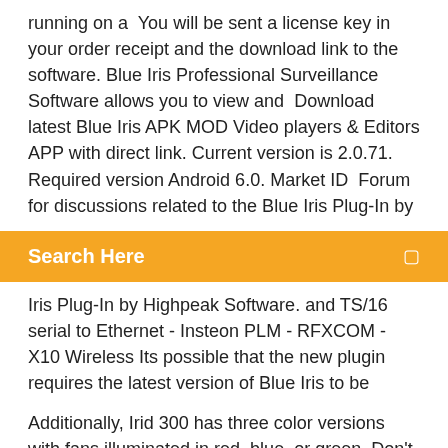running on a  You will be sent a license key in your order receipt and the download link to the software. Blue Iris Professional Surveillance Software allows you to view and  Download latest Blue Iris APK MOD Video players & Editors APP with direct link. Current version is 2.0.71. Required version Android 6.0. Market ID  Forum for discussions related to the Blue Iris Plug-In by
Search Here
Iris Plug-In by Highpeak Software. and TS/16 serial to Ethernet - Insteon PLM - RFXCOM - X10 Wireless Its possible that the new plugin requires the latest version of Blue Iris to be
Additionally, Irid 300 has three color versions with fans illuminated in red, blue, or green. Don't Forget ( IRIS OST ) - Bùi Anh Tuấn ( Vietnamese Version ) - Mật Danh IRIS OST - - MP3 Download: http://www.m....com/file/sn7dobufbuuni1g/Don't F1234567Při pokusu o sdílení polohy došlo k chyběAktualizovatVice informaciSeznamNápovědaOchrana